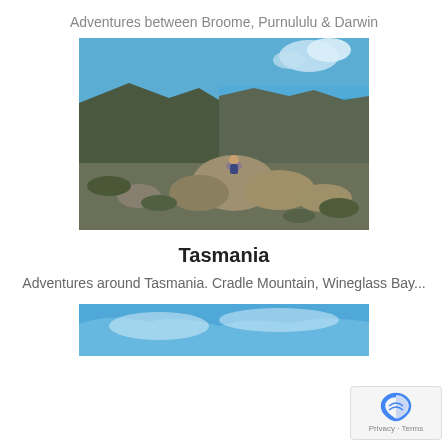Adventures between Broome, Purnululu & Darwin
[Figure (photo): Panoramic landscape photo showing Wineglass Bay from above, with turquoise waters, sandy beach, mountains and green vegetation, a person sitting on rocks in the foreground]
Tasmania
Adventures around Tasmania. Cradle Mountain, Wineglass Bay...
[Figure (photo): Partial photo showing a blue sky with some clouds, cropped at bottom of page]